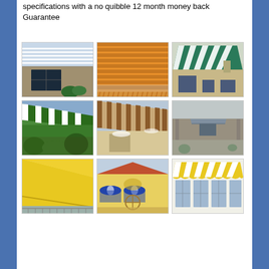specifications with a no quibble 12 month money back Guarantee
[Figure (photo): Grid of 9 awning/canopy product photos showing various styles and colors including striped, solid yellow, orange, green, and blue awnings installed on buildings]
[Figure (photo): Transparent pergola awning on stone building]
[Figure (photo): Orange striped retractable awning close-up]
[Figure (photo): Teal and white striped large awning on house]
[Figure (photo): Green and white striped awning extended over garden]
[Figure (photo): Brown and white striped awning extended]
[Figure (photo): Small awning on stone cottage]
[Figure (photo): Solid yellow awning over terrace]
[Figure (photo): Blue and white striped dome awnings on yellow building]
[Figure (photo): Yellow and white striped flat awning on white building windows]